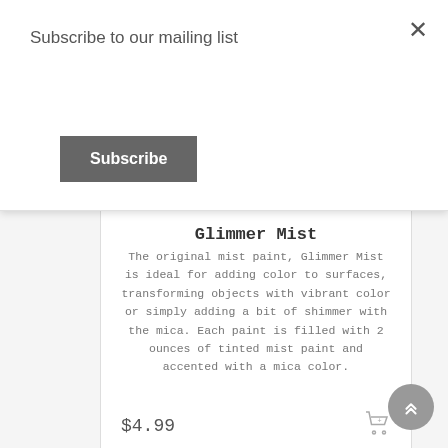Subscribe to our mailing list
Subscribe
×
Glimmer Mist
The original mist paint, Glimmer Mist is ideal for adding color to surfaces, transforming objects with vibrant color or simply adding a bit of shimmer with the mica. Each paint is filled with 2 ounces of tinted mist paint and accented with a mica color.
$4.99